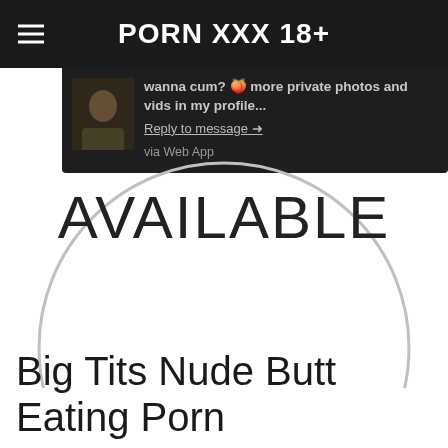PORN XXX 18+
wanna cum? 🍑 more private photos and vids in my profile...
Reply to message →
via Web App
[Figure (other): Large circle outline with the word AVAILABLE in the center]
Big Tits Nude Butt Eating Porn